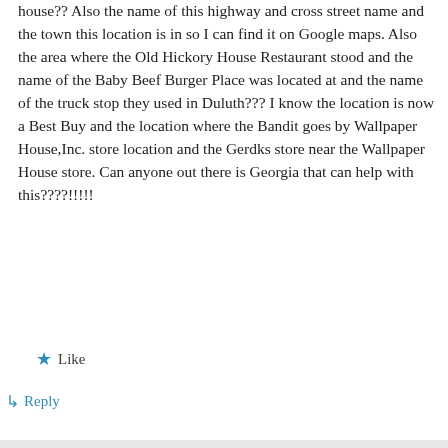house?? Also the name of this highway and cross street name and the town this location is in so I can find it on Google maps. Also the area where the Old Hickory House Restaurant stood and the name of the Baby Beef Burger Place was located at and the name of the truck stop they used in Duluth??? I know the location is now a Best Buy and the location where the Bandit goes by Wallpaper House,Inc. store location and the Gerdks store near the Wallpaper House store. Can anyone out there is Georgia that can help with this????!!!!!
★ Like
↳ Reply